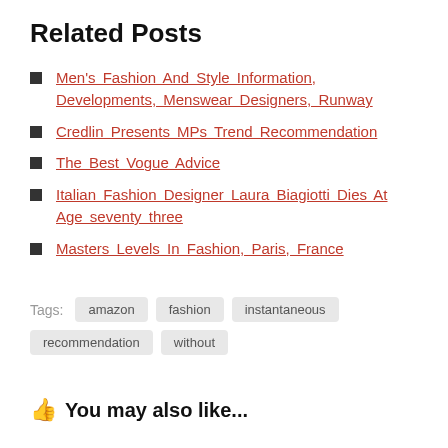Related Posts
Men's Fashion And Style Information, Developments, Menswear Designers, Runway
Credlin Presents MPs Trend Recommendation
The Best Vogue Advice
Italian Fashion Designer Laura Biagiotti Dies At Age seventy three
Masters Levels In Fashion, Paris, France
Tags: amazon  fashion  instantaneous  recommendation  without
👍 You may also like...